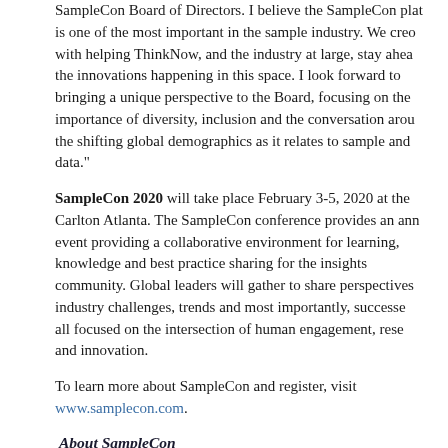SampleCon Board of Directors. I believe the SampleCon platform is one of the most important in the sample industry. We credit with helping ThinkNow, and the industry at large, stay ahead the innovations happening in this space. I look forward to bringing a unique perspective to the Board, focusing on the importance of diversity, inclusion and the conversation around the shifting global demographics as it relates to sample and data."
SampleCon 2020 will take place February 3-5, 2020 at the Carlton Atlanta. The SampleCon conference provides an annual event providing a collaborative environment for learning, knowledge and best practice sharing for the insights community. Global leaders will gather to share perspectives on industry challenges, trends and most importantly, successes all focused on the intersection of human engagement, research and innovation.
To learn more about SampleCon and register, visit www.samplecon.com.
About SampleCon
Launched in 2013, SampleCon was formed with the goal of creating an open forum for discussion of the global topics facing the sample industry. SampleCon has maintained a unique ability to connect global influencers for inclusive, transparent,